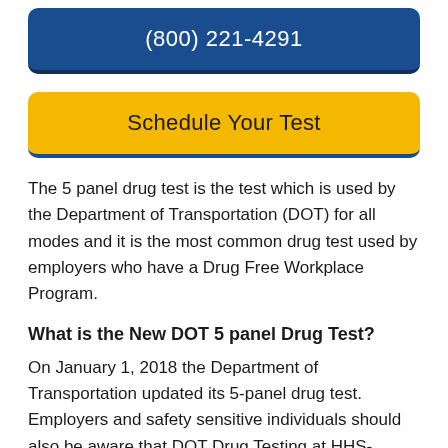[Figure (other): Blue button with phone number (800) 221-4291]
[Figure (other): Yellow button with text 'Schedule Your Test']
The 5 panel drug test is the test which is used by the Department of Transportation (DOT) for all modes and it is the most common drug test used by employers who have a Drug Free Workplace Program.
What is the New DOT 5 panel Drug Test?
On January 1, 2018 the Department of Transportation updated its 5-panel drug test. Employers and safety sensitive individuals should also be aware that DOT Drug Testing at HHS-certified laboratories is a 5-panel drug test procedure. As of January 1, 2018, the 'Opiates' category